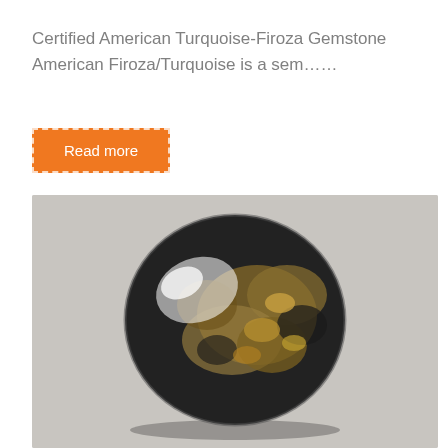Certified American Turquoise-Firoza Gemstone
American Firoza/Turquoise is a sem......
Read more
[Figure (photo): A polished dark-colored gemstone cabochon with metallic grey-black surface and golden-brown mineral inclusions, photographed on a white/grey surface]